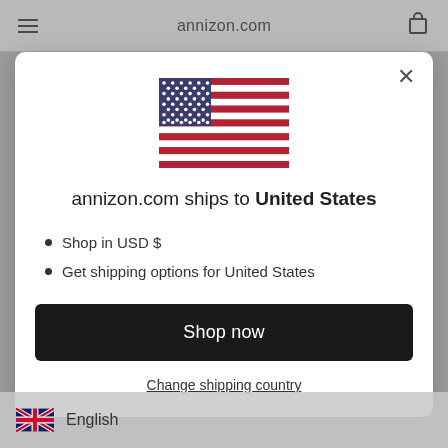annizon.com
[Figure (illustration): US flag icon displayed in modal]
annizon.com ships to United States
Shop in USD $
Get shipping options for United States
Shop now
Change shipping country
English